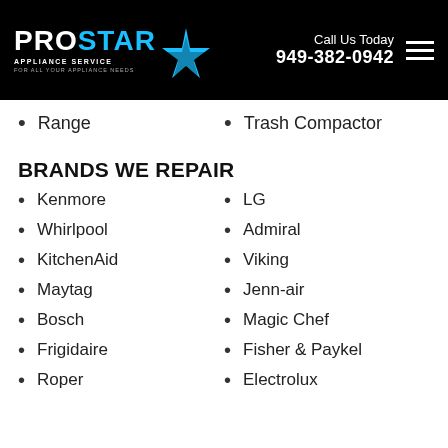[Figure (logo): ProStar Appliance Service logo with blue star graphic on black background, with phone number 949-382-0942]
Range
Trash Compactor
BRANDS WE REPAIR
Kenmore
LG
Whirlpool
Admiral
KitchenAid
Viking
Maytag
Jenn-air
Bosch
Magic Chef
Frigidaire
Fisher & Paykel
Roper
Electrolux